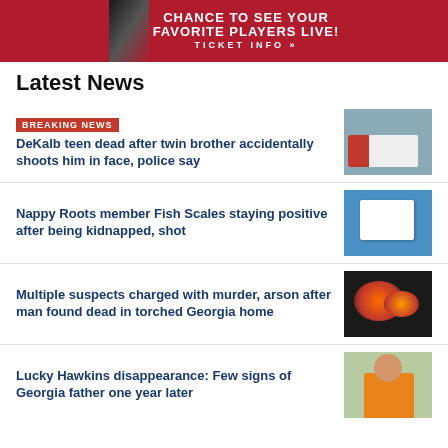[Figure (illustration): Red sports team banner ad: CHANCE TO SEE YOUR FAVORITE PLAYERS LIVE! TICKET INFO >>]
Latest News
BREAKING NEWS
DeKalb teen dead after twin brother accidentally shoots him in face, police say
[Figure (photo): Ambulance photo]
Nappy Roots member Fish Scales staying positive after being kidnapped, shot
[Figure (photo): Social media screenshot photo]
Multiple suspects charged with murder, arson after man found dead in torched Georgia home
[Figure (photo): Police lights photo]
Lucky Hawkins disappearance: Few signs of Georgia father one year later
[Figure (photo): Man in orange shirt photo]